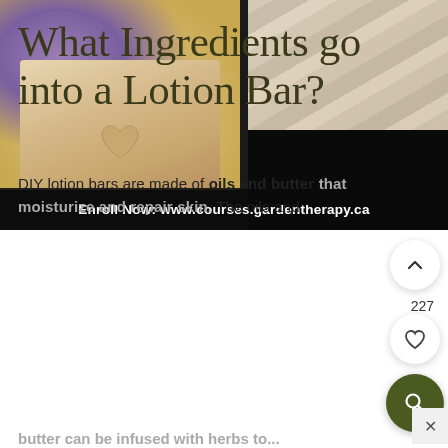[Figure (photo): Collage of DIY lotion bar products: a round bath bomb in a wooden heart-cutout box on the left, and nail files with floral inclusions on the right, over a dark background]
Enroll Now: www.courses.gardentherapy.ca
What Ingredients go into a Lotion Bar?
DIY lotion bars are made of oils and butter that moisturize and repair skin. The oils and butter can be infused with herbs to...